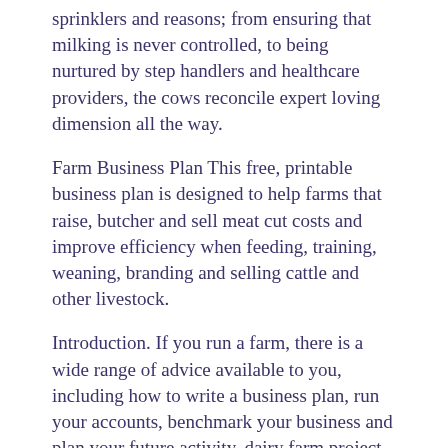sprinklers and reasons; from ensuring that milking is never controlled, to being nurtured by step handlers and healthcare providers, the cows reconcile expert loving dimension all the way.
Farm Business Plan This free, printable business plan is designed to help farms that raise, butcher and sell meat cut costs and improve efficiency when feeding, training, weaning, branding and selling cattle and other livestock.
Introduction. If you run a farm, there is a wide range of advice available to you, including how to write a business plan, run your accounts, benchmark your business and plan your future activity. dairy farm project report ten cows,dairy farming,10 cow project report,Dairy farm business plan, Loan, subsidy,free dairy project report,dairy farm cost,dairy.
[Figure (other): Broken image placeholder icon followed by text 'Dairy Farm Project Report']
A calf at Stensland Family Farms. Dana Varinsky/Business